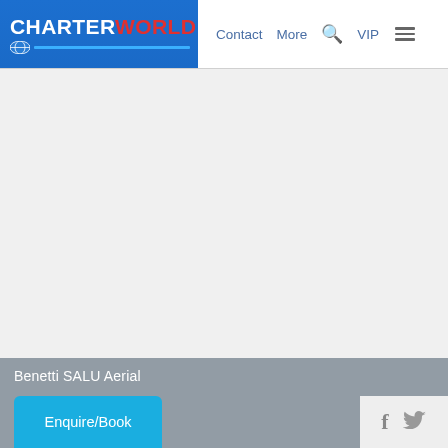[Figure (logo): CharterWorld logo with blue background, white CHARTER text and red WORLD text, globe icon and blue stripe below]
Contact   More   🔍   VIP   ☰
[Figure (photo): Main content image area — blank/not loaded, light gray background]
Benetti SALU Aerial
Enquire/Book
[Figure (other): Social media icons: Facebook (f) and Twitter (bird/t)]